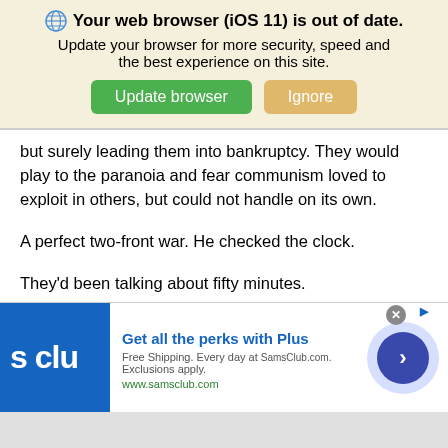[Figure (screenshot): Browser update notification banner with globe icon, bold title 'Your web browser (iOS 11) is out of date.', subtitle text, and two buttons: 'Update browser' (green) and 'Ignore' (tan/orange)]
but surely leading them into bankruptcy. They would play to the paranoia and fear communism loved to exploit in others, but could not handle on its own.
A perfect two-front war. He checked the clock.
They'd been talking about fifty minutes.
Each seemed to clearly understand both the task and their individual responsibilities. Time for the final move. He stood and extended a hand across the table.
[Figure (screenshot): Advertisement banner for Sam's Club Plus membership. Shows Sam's Club logo (blue square with 's clu' text), headline 'Get all the perks with Plus', subtext 'Free Shipping. Every day at SamsClub.com. Exclusions apply.', URL 'www.samsclub.com', and a blue circular arrow button on the right. Close button (X) and external link icon visible.]